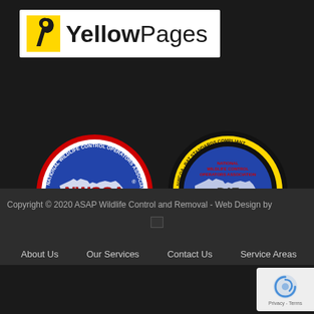[Figure (logo): Yellow Pages logo with yellow bird icon and text YellowPages on white background]
[Figure (logo): NWCOA (National Wildlife Control Operators Association) circular badge - blue background with US map, red NWCOA text, reads COMPETENCE INTEGRITY SERVICE]
[Figure (logo): NWCOA BAT STANDARDS COMPLIANT circular badge - black and yellow border, blue background with US map, text BAT STANDARDS COMPLIANT, COMPETENCE INTEGRITY SERVICE]
Copyright © 2020 ASAP Wildlife Control and Removal - Web Design by
About Us   Our Services   Contact Us   Service Areas